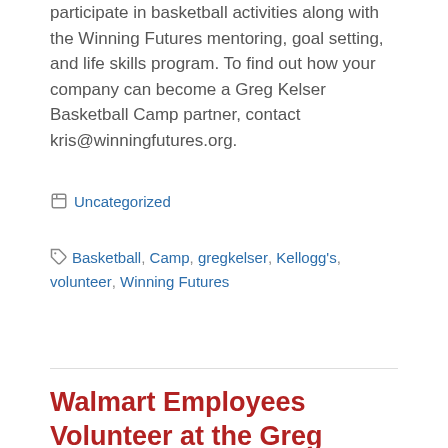participate in basketball activities along with the Winning Futures mentoring, goal setting, and life skills program. To find out how your company can become a Greg Kelser Basketball Camp partner, contact kris@winningfutures.org.
Uncategorized
Basketball, Camp, gregkelser, Kellogg's, volunteer, Winning Futures
Walmart Employees Volunteer at the Greg Kelser Basketball Camp